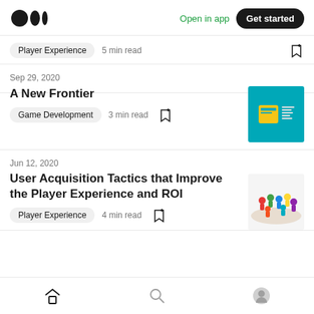Medium logo | Open in app | Get started
Player Experience · 5 min read
Sep 29, 2020
A New Frontier
Game Development · 3 min read
Jun 12, 2020
User Acquisition Tactics that Improve the Player Experience and ROI
Player Experience · 4 min read
Home | Search | Profile